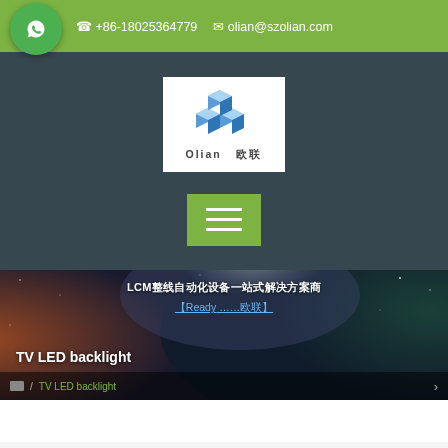+86-18025364779  olian@szolian.com
[Figure (logo): Olian 欧联 company logo with blue 3D cube shapes]
[Figure (screenshot): Navigation hamburger menu button (green with three white lines)]
[Figure (photo): Space/nebula banner image with text overlay: LCM整线自动化设备一站式解决方案商 and blue link text]
TV LED backlight
/ TV LED backlight
[Figure (screenshot): Partial white card section at bottom with green button on right side]